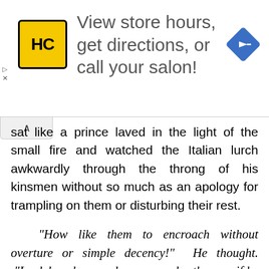[Figure (other): Advertisement banner for Hair Club (HC) salon locator: yellow square logo with HC text, ad text 'View store hours, get directions, or call your salon!', and a blue diamond-shaped navigation arrow icon on the right.]
sat like a prince laved in the light of the small fire and watched the Italian lurch awkwardly through the throng of his kinsmen without so much as an apology for trampling on them or disturbing their rest.
“How like them to encroach without overture or simple decency!” He thought. “Look how he parades over my brothers as if he were a sovereign!”
Andrea came to a stop a half meter or so from the fire and stood without apology in front of Salah. Salah was dressed in a simple robe with a decorative cap on his head; his tea, brewed and ready in his hand.
Salah looked deep into his cup and without raising his eyes